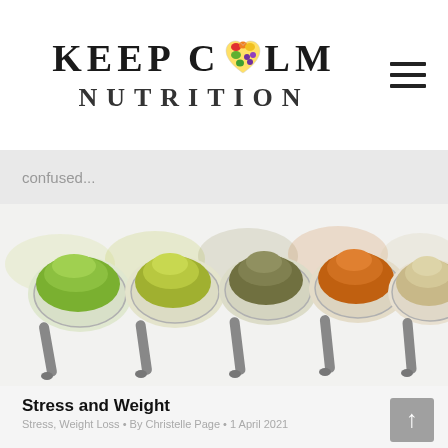KEEP CALM NUTRITION
confused...
[Figure (photo): Five spoons arranged in a fan/row, each holding different colored powdered supplements or spices: bright green (matcha), yellow-green, olive/dark green, orange (turmeric), and beige/tan powder. Photographed from above on a white background.]
Stress and Weight
Stress, Weight Loss • By Christelle Page • 1 April 2021